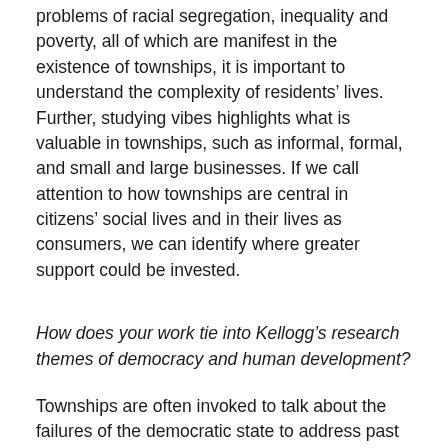problems of racial segregation, inequality and poverty, all of which are manifest in the existence of townships, it is important to understand the complexity of residents' lives. Further, studying vibes highlights what is valuable in townships, such as informal, formal, and small and large businesses. If we call attention to how townships are central in citizens' social lives and in their lives as consumers, we can identify where greater support could be invested.
How does your work tie into Kellogg's research themes of democracy and human development?
Townships are often invoked to talk about the failures of the democratic state to address past injustice and the ways that inequality continues to map onto race. Alongside these realities, if we study vibes and how people actively construct meaningful lives and alternative geographies in townships, we also see how people